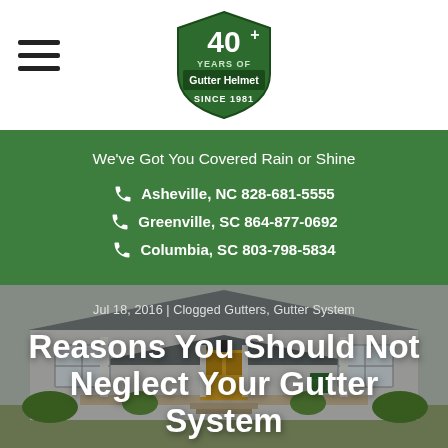[Figure (logo): Gutter Helmet 40+ Years Since 1981 logo, green shield shape with white text]
We've Got You Covered Rain or Shine
Asheville, NC 828-681-5555
Greenville, SC 864-877-0692
Columbia, SC 803-798-5834
[Figure (photo): Exterior of a light gray craftsman-style house with front porch, green chairs, yellow front door, and landscaping]
Jul 18, 2016 | Clogged Gutters, Gutter System
Reasons You Should Not Neglect Your Gutter System